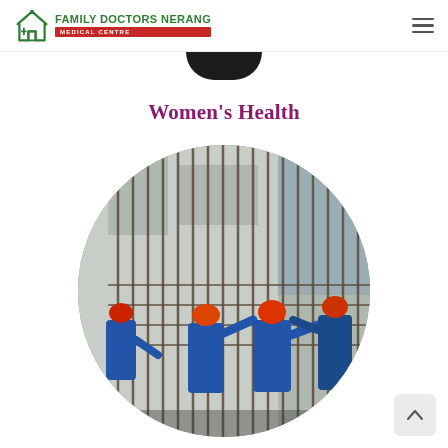[Figure (logo): Family Doctors Nerang Medical Centre logo with green house icon and red subtitle badge]
Women's Health
[Figure (photo): Circular cropped photo of construction workers in orange helmets and blue overalls working on steel rebar framework at a building site]
[Figure (other): Scroll-to-top arrow button in bottom right corner]